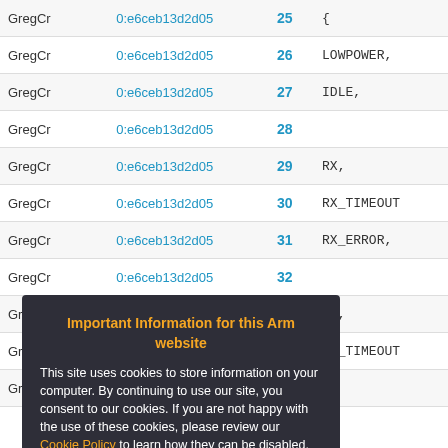| Author | Hash | Line | Code |
| --- | --- | --- | --- |
| GregCr | 0:e6ceb13d2d05 | 25 | { |
| GregCr | 0:e6ceb13d2d05 | 26 | LOWPOWER, |
| GregCr | 0:e6ceb13d2d05 | 27 | IDLE, |
| GregCr | 0:e6ceb13d2d05 | 28 |  |
| GregCr | 0:e6ceb13d2d05 | 29 | RX, |
| GregCr | 0:e6ceb13d2d05 | 30 | RX_TIMEOUT |
| GregCr | 0:e6ceb13d2d05 | 31 | RX_ERROR, |
| GregCr | 0:e6ceb13d2d05 | 32 |  |
| GregCr | 0:e6ceb13d2d05 | 33 | TX, |
| GregCr | 0:e6ceb13d2d05 | 34 | TX_TIMEOUT |
| GregCr | 0:e6ceb13d2d05 | 35 | }; |
Important Information for this Arm website
This site uses cookies to store information on your computer. By continuing to use our site, you consent to our cookies. If you are not happy with the use of these cookies, please review our Cookie Policy to learn how they can be disabled. By disabling cookies, some features of the site will not work.
Accept and hide this message